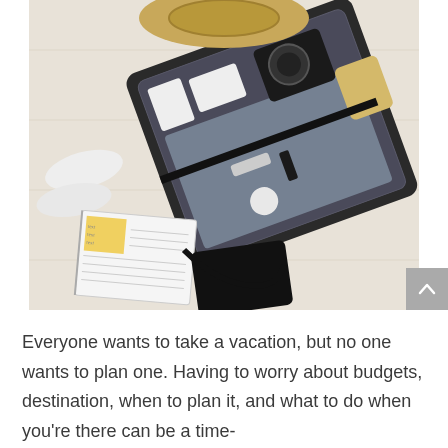[Figure (photo): Overhead flat-lay photo of an open black suitcase on a light wood floor, containing clothing, a camera, cosmetics, a yellow pouch, and other travel items. A straw hat, white sandals, a notebook/journal, and a black passport holder are arranged outside the suitcase.]
Everyone wants to take a vacation, but no one wants to plan one. Having to worry about budgets, destination, when to plan it, and what to do when you're there can be a time-